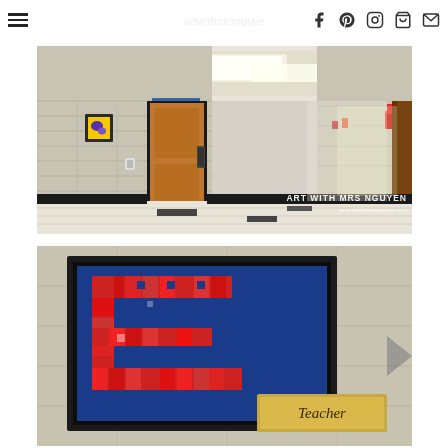Navigation bar with hamburger menu and social icons (Facebook, Pinterest, Instagram, Cart, Email)
[Figure (photo): School hallway/corridor showing tiled floor with black accents, white cinder block walls, wooden door on left, ceiling lights, and watermark 'ART WITH MRS NGUYEN / www.artwithmrsnguyen.com' in bottom right corner.]
[Figure (photo): Close-up of school hallway wall showing a framed student artwork with red and blue mosaic/pixel pattern, next to a 'Teacher' nameplate sign on a beige cinder block wall.]